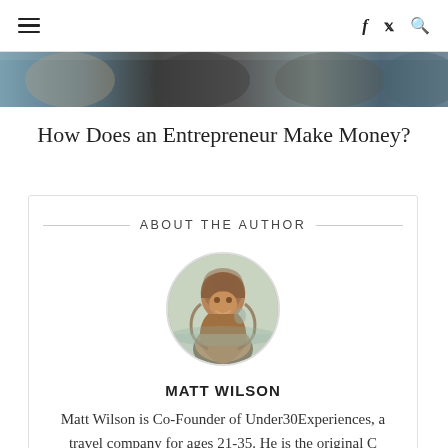≡  f  🐦  🔍
[Figure (photo): Hero image strip showing multiple people, partially cropped at top of page]
How Does an Entrepreneur Make Money?
ABOUT THE AUTHOR
[Figure (photo): Circular profile photo of Matt Wilson, a person with long hair smiling in front of a waterfall]
MATT WILSON
Matt Wilson is Co-Founder of Under30Experiences, a travel company for ages 21-35. He is the original C...